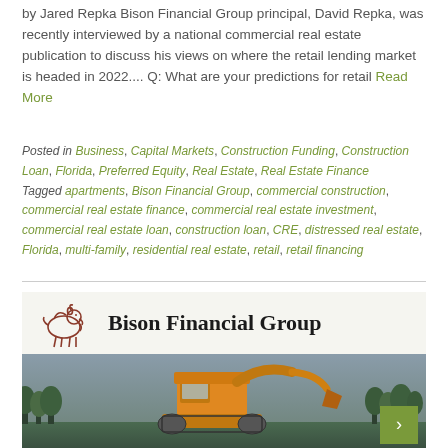by Jared Repka Bison Financial Group principal, David Repka, was recently interviewed by a national commercial real estate publication to discuss his views on where the retail lending market is headed in 2022.... Q: What are your predictions for retail Read More
Posted in Business, Capital Markets, Construction Funding, Construction Loan, Florida, Preferred Equity, Real Estate, Real Estate Finance Tagged apartments, Bison Financial Group, commercial construction, commercial real estate finance, commercial real estate investment, commercial real estate loan, construction loan, CRE, distressed real estate, Florida, multi-family, residential real estate, retail, retail financing
[Figure (logo): Bison Financial Group logo with bison illustration and text, above a photo of a yellow excavator/backhoe with trees in the background and an olive-colored button]